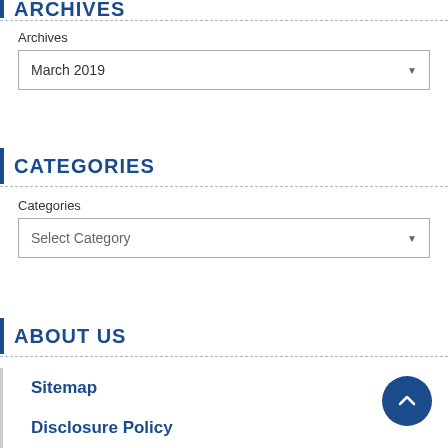ARCHIVES
Archives
March 2019
CATEGORIES
Categories
Select Category
ABOUT US
Sitemap
Disclosure Policy